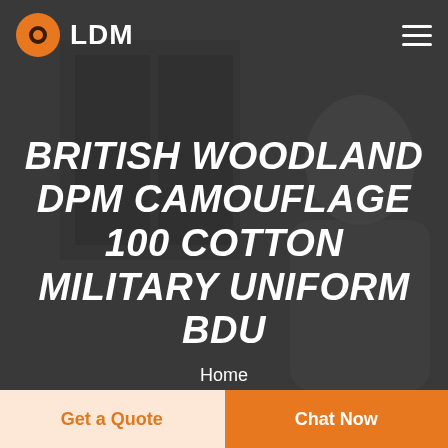[Figure (screenshot): Dark overlay hero image showing a person in profile on the right side of the frame, viewed in grayscale/dark overlay.]
LDM
BRITISH WOODLAND DPM CAMOUFLAGE 100 COTTON MILITARY UNIFORM BDU
Home
Get a Quote
Chat Now